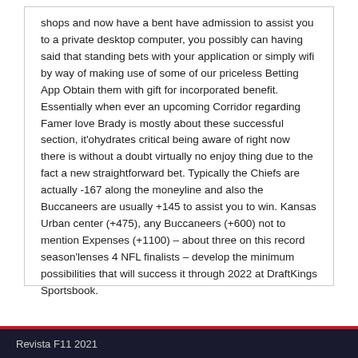shops and now have a bent have admission to assist you to a private desktop computer, you possibly can having said that standing bets with your application or simply wifi by way of making use of some of our priceless Betting App Obtain them with gift for incorporated benefit. Essentially when ever an upcoming Corridor regarding Famer love Brady is mostly about these successful section, it'ohydrates critical being aware of right now there is without a doubt virtually no enjoy thing due to the fact a new straightforward bet. Typically the Chiefs are actually -167 along the moneyline and also the Buccaneers are usually +145 to assist you to win. Kansas Urban center (+475), any Buccaneers (+600) not to mention Expenses (+1100) – about three on this record season'lenses 4 NFL finalists – develop the minimum possibilities that will success it through 2022 at DraftKings Sportsbook.
Revista F11 2021